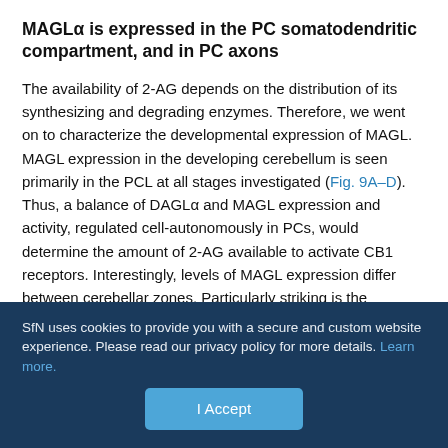MAGLα is expressed in the PC somatodendritic compartment, and in PC axons
The availability of 2-AG depends on the distribution of its synthesizing and degrading enzymes. Therefore, we went on to characterize the developmental expression of MAGL. MAGL expression in the developing cerebellum is seen primarily in the PCL at all stages investigated (Fig. 9A–D). Thus, a balance of DAGLα and MAGL expression and activity, regulated cell-autonomously in PCs, would determine the amount of 2-AG available to activate CB1 receptors. Interestingly, levels of MAGL expression differ between cerebellar zones. Particularly striking is the enrichment of MAGL at P10 in PCs lining the primary fissure (prm), which separates lobes V and VI (Fig. 9C, C″, prm is indicated by asterisk), and is within the
SfN uses cookies to provide you with a secure and custom website experience. Please read our privacy policy for more details. Learn more.